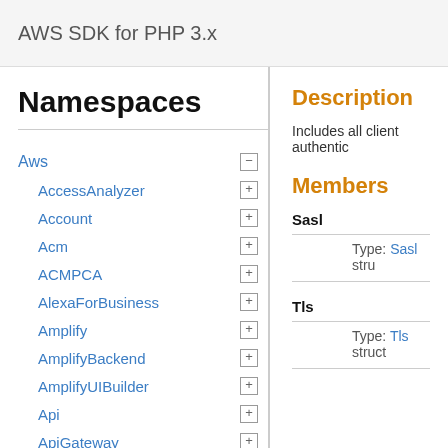AWS SDK for PHP 3.x
Namespaces
Aws
AccessAnalyzer
Account
Acm
ACMPCA
AlexaForBusiness
Amplify
AmplifyBackend
AmplifyUIBuilder
Api
ApiGateway
ApiGatewayManagementApi
Description
Includes all client authentic
Members
Sasl
Type: Sasl stru
Tls
Type: Tls struct